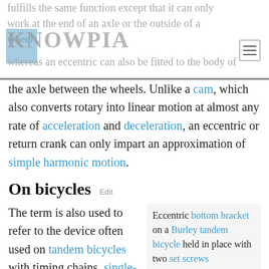fulfills the same function except that it can only work at the end of an axle or the outside of a wheel whereas an eccentric can also be fitted to the body of
the axle between the wheels. Unlike a cam, which also converts rotary into linear motion at almost any rate of acceleration and deceleration, an eccentric or return crank can only impart an approximation of simple harmonic motion.
On bicycles
The term is also used to refer to the device often used on tandem bicycles with timing chains, single-speed bicycles with a rear disc brake or an internal-geared hub, or any bicycle
Eccentric bottom bracket on a Burley tandem bicycle held in place with two set screws